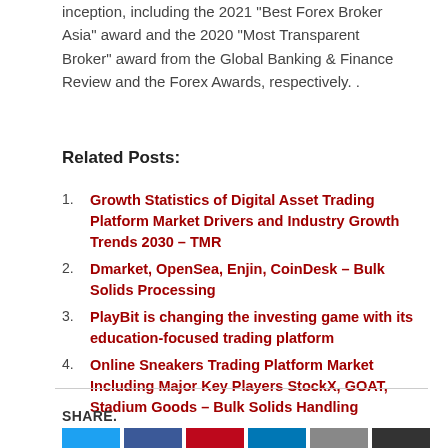inception, including the 2021 "Best Forex Broker Asia" award and the 2020 "Most Transparent Broker" award from the Global Banking & Finance Review and the Forex Awards, respectively. .
Related Posts:
Growth Statistics of Digital Asset Trading Platform Market Drivers and Industry Growth Trends 2030 – TMR
Dmarket, OpenSea, Enjin, CoinDesk – Bulk Solids Processing
PlayBit is changing the investing game with its education-focused trading platform
Online Sneakers Trading Platform Market Including Major Key Players StockX, GOAT, Stadium Goods – Bulk Solids Handling
SHARE.